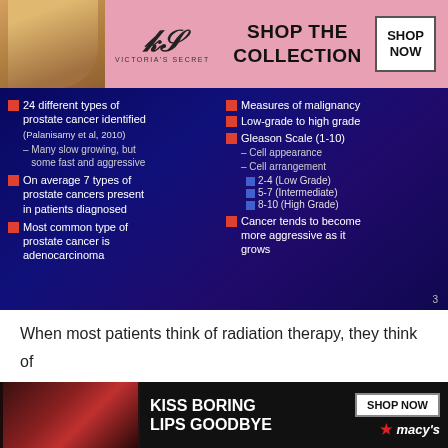[Figure (screenshot): Victoria's Secret advertisement banner with model photo, VS logo, 'SHOP THE COLLECTION' text, and 'SHOP NOW' button]
[Figure (screenshot): Medical education slide with dark blue background listing prostate cancer types and Gleason Scale information in two columns with bullet points]
When most patients think of radiation therapy, they think of external beam radiation therapy , in which a beam of radiation is directed at cancerous tissue from outside the body. T...
[Figure (screenshot): Macy's advertisement banner with 'KISS BORING LIPS GOODBYE' text, lip photo, 'SHOP NOW' button and Macy's star logo]